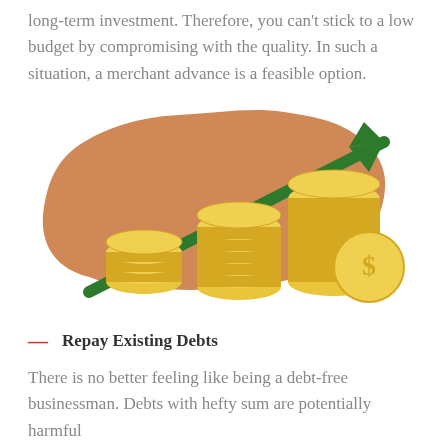long-term investment. Therefore, you can't stick to a low budget by compromising with the quality. In such a situation, a merchant advance is a feasible option.
[Figure (illustration): Illustration of stacked gold coins in increasing heights with a green upward arrow behind them, set against an orange/brown irregular shape background. Represents financial growth and investment.]
Repay Existing Debts
There is no better feeling like being a debt-free businessman. Debts with hefty sum are potentially harmful